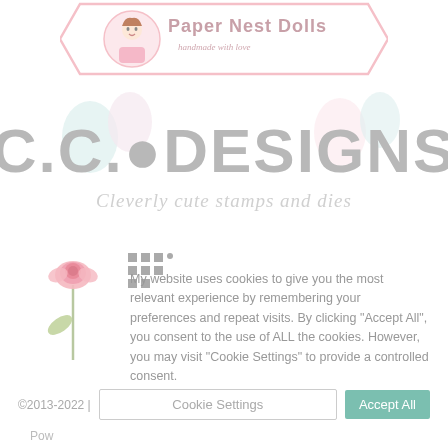[Figure (logo): Paper Nest Dolls logo with doll illustration and banner shape, 'handmade with love' tagline]
[Figure (logo): C.C. Designs logo — large bold grey text 'C.C. DESIGNS' with balloon decorations, subtitle 'Cleverly cute stamps and dies']
[Figure (illustration): Pink rose flower illustration on left side]
My website uses cookies to give you the most relevant experience by remembering your preferences and repeat visits. By clicking "Accept All", you consent to the use of ALL the cookies. However, you may visit "Cookie Settings" to provide a controlled consent.
©2013-2022 | Pow
Cookie Settings
Accept All